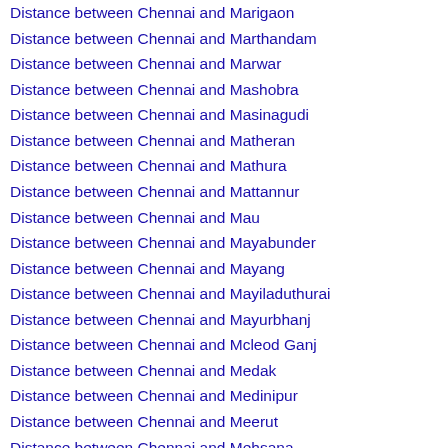Distance between Chennai and Marigaon
Distance between Chennai and Marthandam
Distance between Chennai and Marwar
Distance between Chennai and Mashobra
Distance between Chennai and Masinagudi
Distance between Chennai and Matheran
Distance between Chennai and Mathura
Distance between Chennai and Mattannur
Distance between Chennai and Mau
Distance between Chennai and Mayabunder
Distance between Chennai and Mayang
Distance between Chennai and Mayiladuthurai
Distance between Chennai and Mayurbhanj
Distance between Chennai and Mcleod Ganj
Distance between Chennai and Medak
Distance between Chennai and Medinipur
Distance between Chennai and Meerut
Distance between Chennai and Mehsana